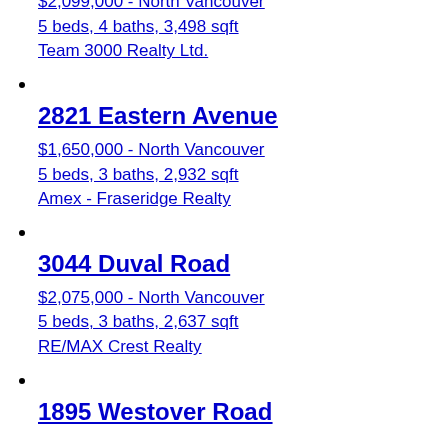$2,099,000 - North Vancouver
5 beds, 4 baths, 3,498 sqft
Team 3000 Realty Ltd.
2821 Eastern Avenue
$1,650,000 - North Vancouver
5 beds, 3 baths, 2,932 sqft
Amex - Fraseridge Realty
3044 Duval Road
$2,075,000 - North Vancouver
5 beds, 3 baths, 2,637 sqft
RE/MAX Crest Realty
1895 Westover Road